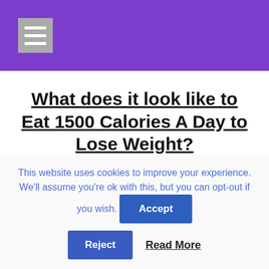What does it look like to Eat 1500 Calories A Day to Lose Weight?
To get a real idea of what 1500 Calories a day looks like, see the plan below.
This website uses cookies to improve your experience. We'll assume you're ok with this, but you can opt-out if you wish.  Accept  Reject  Read More